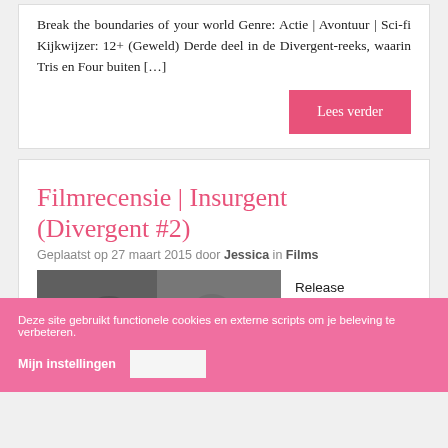Break the boundaries of your world Genre: Actie | Avontuur | Sci-fi Kijkwijzer: 12+ (Geweld) Derde deel in de Divergent-reeks, waarin Tris en Four buiten […]
Lees verder
Filmrecensie | Insurgent (Divergent #2)
Geplaatst op 27 maart 2015 door Jessica in Films
[Figure (photo): Two male actors in dark clothing from the Insurgent / Divergent film]
Release datum: 18 maart
Deze site gebruikt functionele cookies en externe scripts om je beleving te verbeteren.
Mijn instellingen